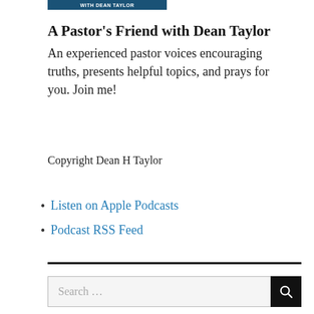[Figure (logo): Dark blue banner with white text reading 'WITH DEAN TAYLOR']
A Pastor's Friend with Dean Taylor
An experienced pastor voices encouraging truths, presents helpful topics, and prays for you. Join me!
Copyright Dean H Taylor
Listen on Apple Podcasts
Podcast RSS Feed